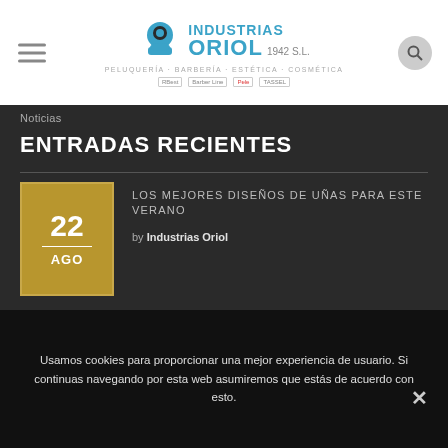[Figure (logo): Industrias Oriol 1942 S.L. logo with blue text and brand icons for peluquería, barbería, estética, cosmética]
Noticias
ENTRADAS RECIENTES
22 AGO — LOS MEJORES DISEÑOS DE UÑAS PARA ESTE VERANO by Industrias Oriol
Usamos cookies para proporcionar una mejor experiencia de usuario. Si continuas navegando por esta web asumiremos que estás de acuerdo con esto.